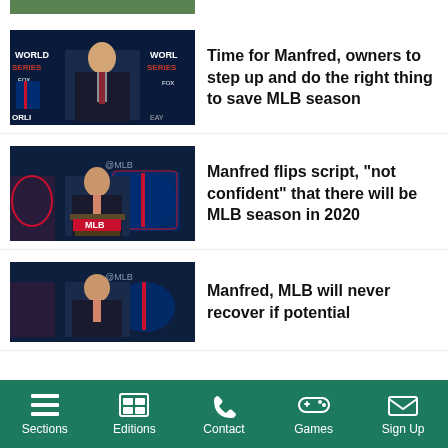[Figure (photo): Partial top image, cropped sports/baseball photo]
[Figure (photo): Rob Manfred at World Series press conference podium with World Series backdrop]
Time for Manfred, owners to step up and do the right thing to save MLB season
[Figure (photo): Rob Manfred speaking at MLB podium with MLB logo backdrop, @MLB text visible]
Manfred flips script, “not confident” that there will be MLB season in 2020
[Figure (photo): Rob Manfred at MLB podium, @MLB text visible, partial lower image]
Manfred, MLB will never recover if potential
Sections  Editions  Contact  Games  Sign Up